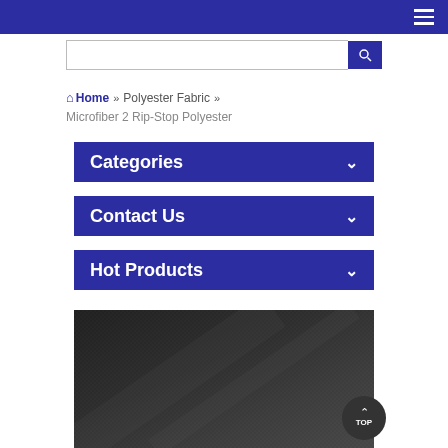Navigation menu header with hamburger icon
Home » Polyester Fabric » Microfiber 2 Rip-Stop Polyester
Categories
Contact Us
Hot Products
[Figure (photo): Close-up of dark microfiber ripstop polyester fabric texture]
TOP